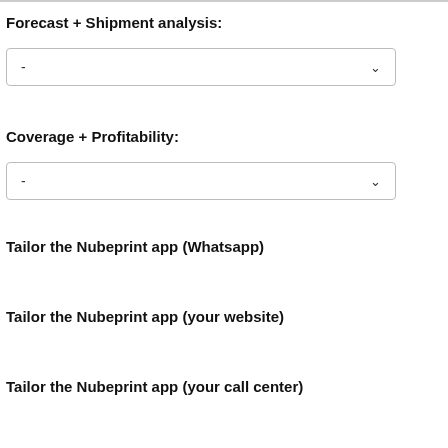Forecast + Shipment analysis:
[Figure (other): Dropdown selector with dash placeholder and chevron arrow]
Coverage + Profitability:
[Figure (other): Dropdown selector with dash placeholder and chevron arrow]
Tailor the Nubeprint app (Whatsapp)
Tailor the Nubeprint app (your website)
Tailor the Nubeprint app (your call center)